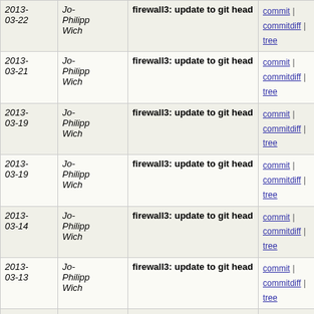| Date | Author | Subject | Links |
| --- | --- | --- | --- |
| 2013-03-22 | Jo-Philipp Wich | firewall3: update to git head | commit | commitdiff | tree |
| 2013-03-21 | Jo-Philipp Wich | firewall3: update to git head | commit | commitdiff | tree |
| 2013-03-19 | Jo-Philipp Wich | firewall3: update to git head | commit | commitdiff | tree |
| 2013-03-19 | Jo-Philipp Wich | firewall3: update to git head | commit | commitdiff | tree |
| 2013-03-14 | Jo-Philipp Wich | firewall3: update to git head | commit | commitdiff | tree |
| 2013-03-13 | Jo-Philipp Wich | firewall3: update to git head | commit | commitdiff | tree |
| 2013-03-11 | Jo-Philipp Wich | firewall3: update to git head | commit | commitdiff | tree |
| 2013-03-08 | Jo-Philipp Wich | Revert "firewall3: update to git head" | commit | commitdiff | tree |
| 2013-03-08 | Jo-Philipp Wich | firewall3: update to git head | commit | commitdiff | tree |